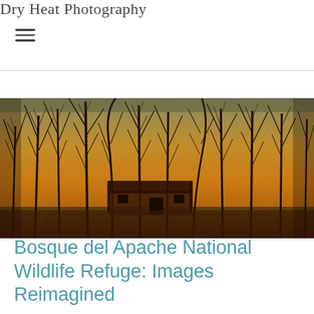Dry Heat Photography
[Figure (photo): Artistic moody photograph of bare winter trees silhouetted against a golden-orange textured sky, with a small adobe-style building visible in the lower center, taken at Bosque del Apache National Wildlife Refuge. The image has a painterly, warm amber tone with dark skeletal trees.]
Bosque del Apache National Wildlife Refuge: Images Reimagined